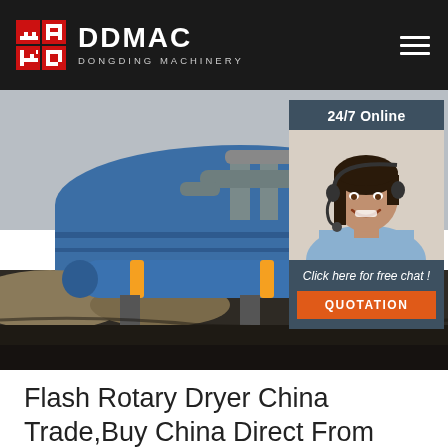DDMAC DONGDING MACHINERY
[Figure (photo): Industrial rotary dryer facility with large blue cylindrical dryer drums and blue warehouse building in background, construction site setting]
[Figure (photo): Customer service agent woman wearing headset smiling, with '24/7 Online' panel, 'Click here for free chat!' text and orange QUOTATION button]
Flash Rotary Dryer China Trade,Buy China Direct From